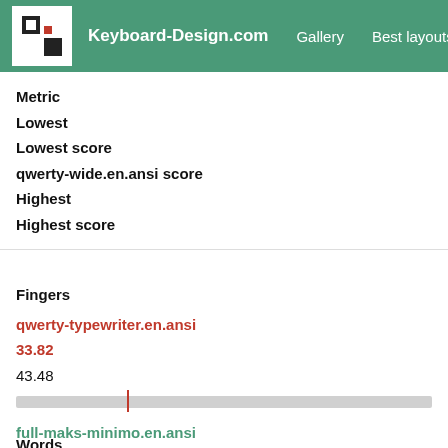Keyboard-Design.com | Gallery | Best layouts | Too
| Metric |
| --- |
| Lowest |
| Lowest score |
| qwerty-wide.en.ansi score |
| Highest |
| Highest score |
Fingers
qwerty-typewriter.en.ansi
33.82
43.48
[Figure (bar-chart): Horizontal bar showing score range with red marker at qwerty-typewriter position]
full-maks-minimo.en.ansi
78.62
Words